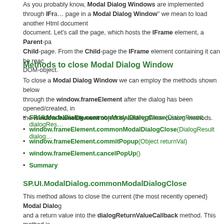As you probably know, Modal Dialog Windows are implemented through IFrame. To load a page in a Modal Dialog Window we mean to load another Html document inside an IFrame document. Let's call the page, which hosts the IFrame element, a Parent-page and Child-page. From the Child-page the IFrame element containing it can be reached as a DOM-object.
Methods to close Modal Dialog Window
To close a Modal Dialog Window we can employ the methods shown below, accessed through the window.frameElement after the dialog has been opened/created, in order to extend the window.frameElement object by adding these custom methods.
SP.UI.ModalDialog.commonModalDialogClose(DialogResult dialogRes…
window.frameElement.commonModalDialogClose(DialogResult dialog…
window.frameElement.commitPopup(Object returnVal)
window.frameElement.cancelPopUp()
Summary
SP.UI.ModalDialog.commonModalDialogClose
This method allows to close the current (the most recently opened) Modal Dialog and a return value into the dialogReturnValueCallback method. This method is page. Below is a sample of possible use. Let's assume that within the Parent page OpenChildDialog and CloseChildDialog, and a Html link, which opens the dialog functions:
function OpenChildDialog() {
    var opt = {